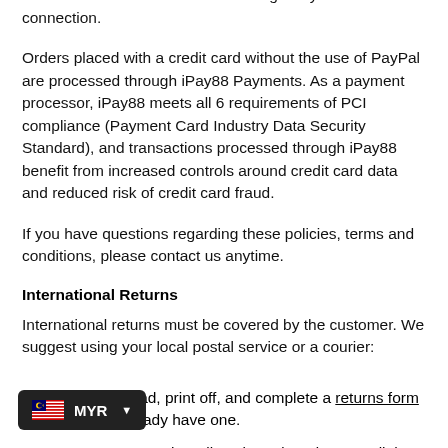through PayPal Express Checkout, all personal and credit card information is transmitted through PayPal's secure connection.
Orders placed with a credit card without the use of PayPal are processed through iPay88 Payments. As a payment processor, iPay88 meets all 6 requirements of PCI compliance (Payment Card Industry Data Security Standard), and transactions processed through iPay88 benefit from increased controls around credit card data and reduced risk of credit card fraud.
If you have questions regarding these policies, terms and conditions, please contact us anytime.
International Returns
International returns must be covered by the customer. We suggest using your local postal service or a courier:
Please download, print off, and complete a returns form if you don't already have one.
Ensure your return is well packaged, and meets all the